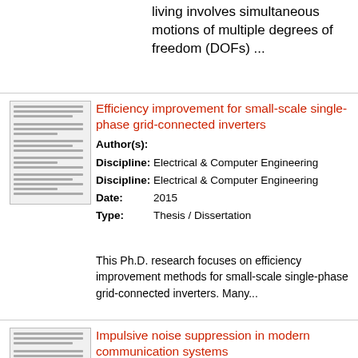living involves simultaneous motions of multiple degrees of freedom (DOFs) ...
Efficiency improvement for small-scale single-phase grid-connected inverters
Author(s):
Discipline: Electrical & Computer Engineering
Discipline: Electrical & Computer Engineering
Date: 2015
Type: Thesis / Dissertation
This Ph.D. research focuses on efficiency improvement methods for small-scale single-phase grid-connected inverters. Many...
Impulsive noise suppression in modern communication systems
Author(s):
Discipline: Electrical & Computer Engineering